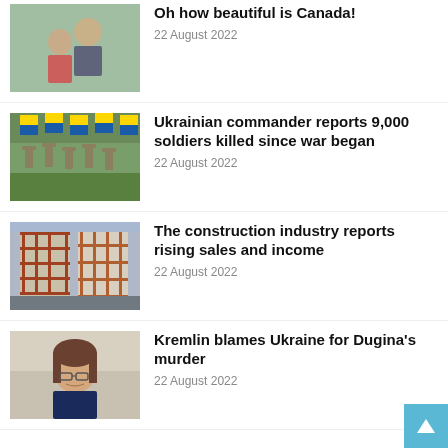[Figure (photo): Two people hugging outdoors, one in a red top]
Oh how beautiful is Canada!
22 August 2022
[Figure (photo): Cemetery with Ukrainian flags and grave markers]
Ukrainian commander reports 9,000 soldiers killed since war began
22 August 2022
[Figure (photo): Construction scaffolding on a building site]
The construction industry reports rising sales and income
22 August 2022
[Figure (photo): Woman with glasses and dark hair, serious expression]
Kremlin blames Ukraine for Dugina's murder
22 August 2022